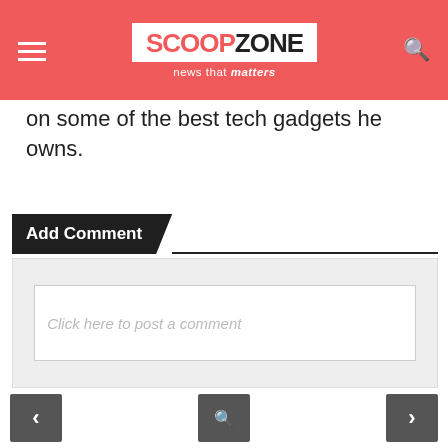SCOOPZONE - news that matters
on some of the best tech gadgets he owns.
Add Comment
Click here to post a comment
Recent Posts
Did more people quit smoking in the pandemic?
Apple hit by a lawsuit over Apple Pay payments